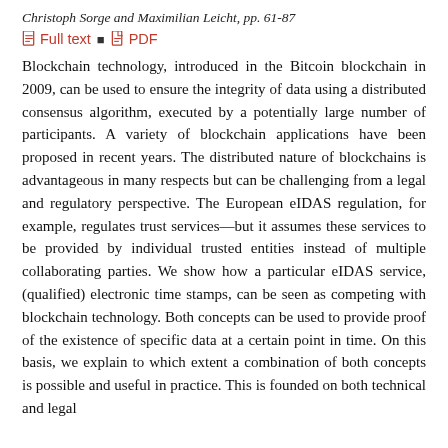Christoph Sorge and Maximilian Leicht, pp. 61-87
Full text  ■  PDF
Blockchain technology, introduced in the Bitcoin blockchain in 2009, can be used to ensure the integrity of data using a distributed consensus algorithm, executed by a potentially large number of participants. A variety of blockchain applications have been proposed in recent years. The distributed nature of blockchains is advantageous in many respects but can be challenging from a legal and regulatory perspective. The European eIDAS regulation, for example, regulates trust services—but it assumes these services to be provided by individual trusted entities instead of multiple collaborating parties. We show how a particular eIDAS service, (qualified) electronic time stamps, can be seen as competing with blockchain technology. Both concepts can be used to provide proof of the existence of specific data at a certain point in time. On this basis, we explain to which extent a combination of both concepts is possible and useful in practice. This is founded on both technical and legal